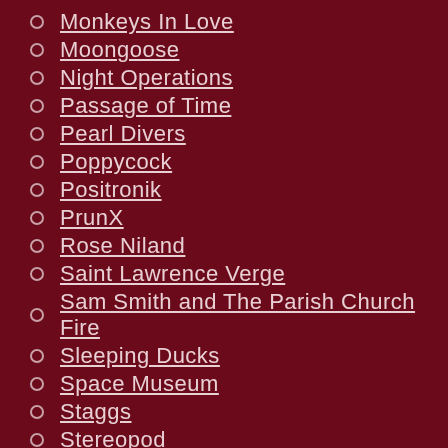Monkeys In Love
Moongoose
Night Operations
Passage of Time
Pearl Divers
Poppycock
Positronik
PrunX
Rose Niland
Saint Lawrence Verge
Sam Smith and The Parish Church Fire
Sleeping Ducks
Space Museum
Staggs
Stereopod
Stripey Zebras
sycloner